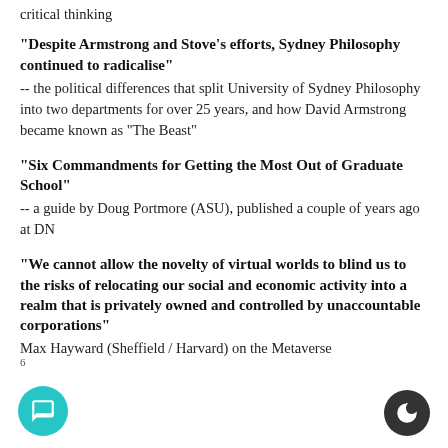critical thinking
“Despite Armstrong and Stove’s efforts, Sydney Philosophy continued to radicalise” -- the political differences that split University of Sydney Philosophy into two departments for over 25 years, and how David Armstrong became known as "The Beast"
“Six Commandments for Getting the Most Out of Graduate School” -- a guide by Doug Portmore (ASU), published a couple of years ago at DN
“We cannot allow the novelty of virtual worlds to blind us to the risks of relocating our social and economic activity into a realm that is privately owned and controlled by unaccountable corporations” Max Hayward (Sheffield / Harvard) on the Metaverse